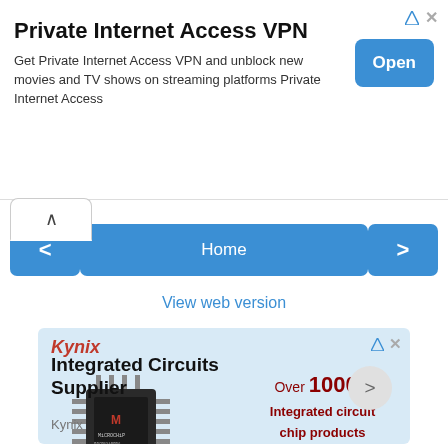[Figure (screenshot): Top advertisement banner for Private Internet Access VPN with title, description text, and blue Open button]
[Figure (screenshot): Navigation controls: up chevron tab, left arrow button, Home button, right arrow button]
View web version
[Figure (screenshot): Kynix advertisement: light blue background with Kynix logo, microchip image, text 'Over 1000+ Integrated circuit chip products are in stock and available now.', heading 'Integrated Circuits Supplier', and Kynix brand name]